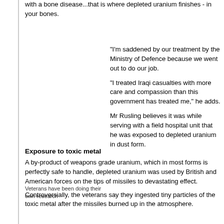with a bone disease...that is where depleted uranium finishes - in your bones.
"I'm saddened by our treatment by the Ministry of Defence because we went out to do our job.

"I treated Iraqi casualties with more care and compassion than this government has treated me," he adds.

Mr Rusling believes it was while serving with a field hospital unit that he was exposed to depleted uranium in dust form.
Veterans have been doing their own research
Exposure to toxic metal
A by-product of weapons grade uranium, which in most forms is perfectly safe to handle, depleted uranium was used by British and American forces on the tips of missiles to devastating effect.
Controversially, the veterans say they ingested tiny particles of the toxic metal after the missiles burned up in the atmosphere.